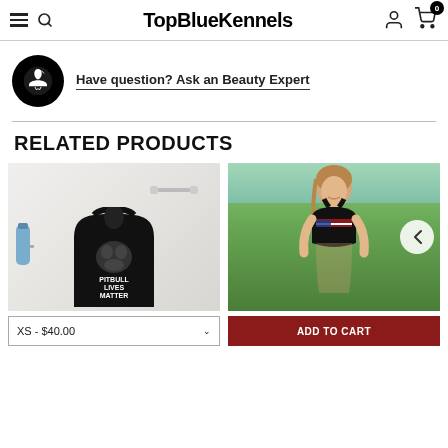TopBlueKennels
Have question? Ask an Beauty Expert
RELATED PRODUCTS
[Figure (photo): Black sports bra with pitbull face and text 'PITBULL LIVES MATTER' on marble background with dumbbells and water bottle]
[Figure (photo): Young woman wearing black sports bra with American flag design outdoors with green trees in background]
XS - $40.00
ADD TO CART